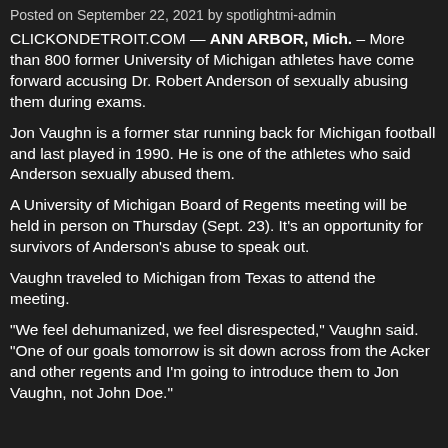Posted on September 22, 2021 by spotlightmi-admin
CLICKONDETROIT.COM — ANN ARBOR, Mich. – More than 800 former University of Michigan athletes have come forward accusing Dr. Robert Anderson of sexually abusing them during exams.
Jon Vaughn is a former star running back for Michigan football and last played in 1990. He is one of the athletes who said Anderson sexually abused them.
A University of Michigan Board of Regents meeting will be held in person on Thursday (Sept. 23). It's an opportunity for survivors of Anderson's abuse to speak out.
Vaughn traveled to Michigan from Texas to attend the meeting.
“We feel dehumanized, we feel disrespected,” Vaughn said. “One of our goals tomorrow is sit down across from the Acker and other regents and I’m going to introduce them to Jon Vaughn, not John Doe.”